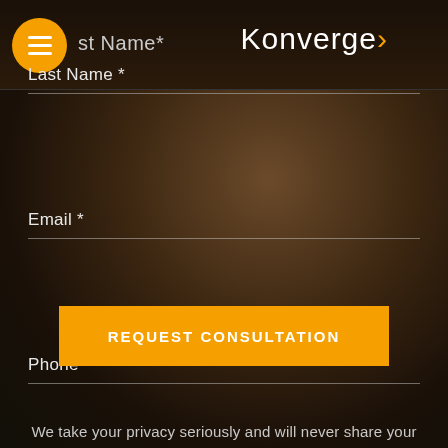Konverge
Last Name *
Email *
Phone *
REQUEST CONSULTATION
We take your privacy seriously and will never share your